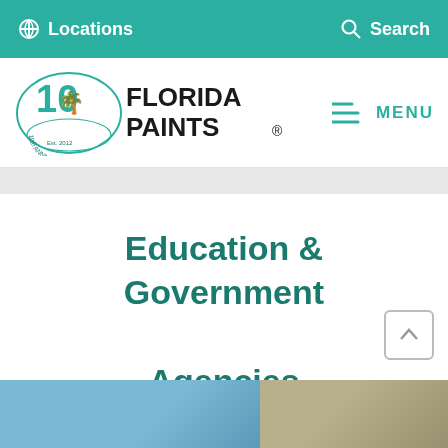Locations   Search
[Figure (logo): Florida Paints 10th Anniversary logo with teal palm tree graphic and bold text FLORIDA PAINTS]
MENU
Education & Government Agencies
[Figure (photo): Partial photo of people painting, blue and olive/tan tones, partially visible at bottom of page]